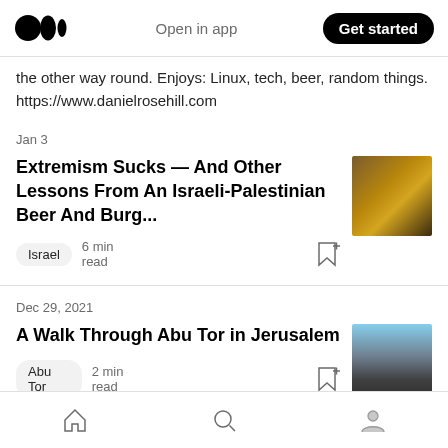Medium logo | Open in app | Get started
the other way round. Enjoys: Linux, tech, beer, random things. https://www.danielrosehill.com
Jan 3
Extremism Sucks — And Other Lessons From An Israeli-Palestinian Beer And Burg...
Israel  6 min read
Dec 29, 2021
A Walk Through Abu Tor in Jerusalem
Abu Tor  2 min read